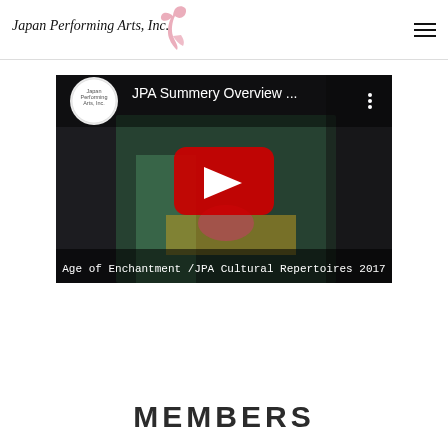Japan Performing Arts, Inc.
[Figure (screenshot): YouTube video thumbnail showing a performer in a green kimono with red obi. Title overlay reads 'JPA Summery Overview ...' with YouTube logo circle. Bottom caption reads 'Age of Enchantment /JPA Cultural Repertoires 2017'. A red play button is centered on the thumbnail.]
MEMBERS